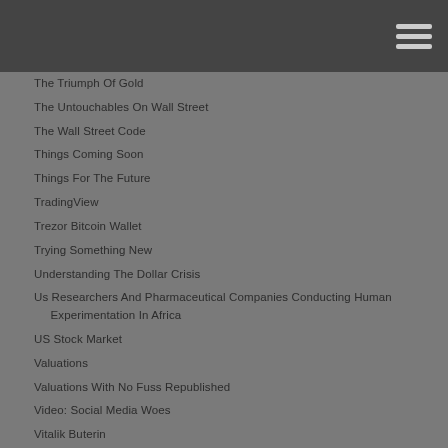Navigation menu header bar
The Triumph Of Gold
The Untouchables On Wall Street
The Wall Street Code
Things Coming Soon
Things For The Future
TradingView
Trezor Bitcoin Wallet
Trying Something New
Understanding The Dollar Crisis
Us Researchers And Pharmaceutical Companies Conducting Human Experimentation In Africa
US Stock Market
Valuations
Valuations With No Fuss Republished
Video: Social Media Woes
Vitalik Buterin
VIX
VNewsletter0121: S&P 500 E-Mini Futures Quick Review
VNewsletter0221: A Quick Look At Bitcoin
VNewsletter0321: A Quick Analysis On BTC
VNewsletter0421: Quick Analysis Of ADA
VNewsletter10: S&P 500 E-Mini Futures Quick Review
VNewsletter11: BTC Quick Review
VNewsletter12: Bitcoin – Are The Bulls Still In Charge?
VNewsletter13: S&P 500 E-Mini Futures Quick Review